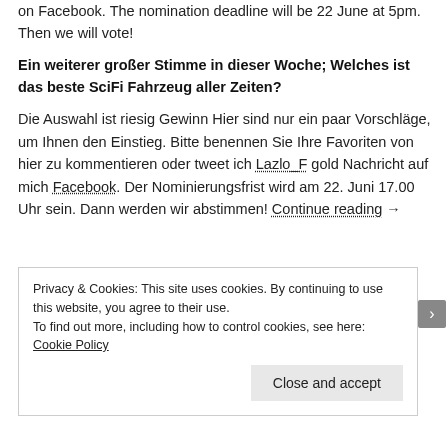on Facebook. The nomination deadline will be 22 June at 5pm. Then we will vote!
Ein weiterer großer Stimme in dieser Woche; Welches ist das beste SciFi Fahrzeug aller Zeiten?
Die Auswahl ist riesig Gewinn Hier sind nur ein paar Vorschläge, um Ihnen den Einstieg. Bitte benennen Sie Ihre Favoriten von hier zu kommentieren oder tweet ich Lazlo_F gold Nachricht auf mich Facebook. Der Nominierungsfrist wird am 22. Juni 17.00 Uhr sein. Dann werden wir abstimmen! Continue reading →
Privacy & Cookies: This site uses cookies. By continuing to use this website, you agree to their use. To find out more, including how to control cookies, see here: Cookie Policy
Close and accept